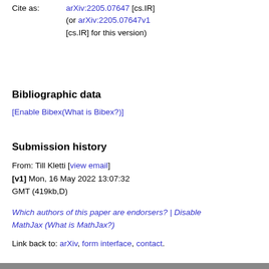Cite as: arXiv:2205.07647 [cs.IR] (or arXiv:2205.07647v1 [cs.IR] for this version)
Bibliographic data
[Enable Bibex(What is Bibex?)]
Submission history
From: Till Kletti [view email]
[v1] Mon, 16 May 2022 13:07:32 GMT (419kb,D)
Which authors of this paper are endorsers? | Disable MathJax (What is MathJax?)
Link back to: arXiv, form interface, contact.